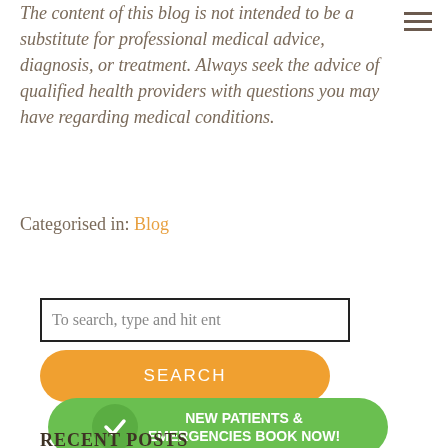The content of this blog is not intended to be a substitute for professional medical advice, diagnosis, or treatment. Always seek the advice of qualified health providers with questions you may have regarding medical conditions.
Categorised in: Blog
To search, type and hit ent
SEARCH
NEW PATIENTS & EMERGENCIES BOOK NOW!
RECENT POSTS